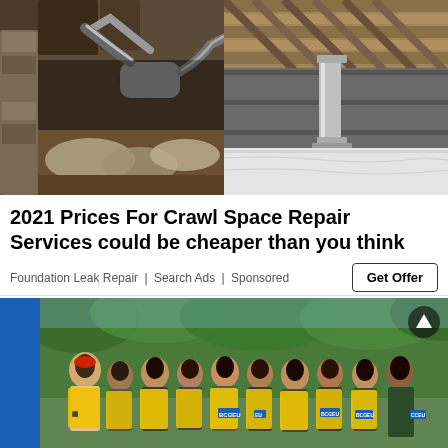[Figure (photo): Two-panel crawl space photo: left panel shows cluttered crawl space with stone/concrete pillars, flexible duct work, and old insulation on dirt floor; right panel shows renovated crawl space with encapsulation liner, metal support column, and clean white vapor barrier.]
2021 Prices For Crawl Space Repair Services could be cheaper than you think
Foundation Leak Repair | Search Ads | Sponsored
Get Offer
[Figure (photo): Photo of a group of workers wearing yellow safety vests with BCGEU logos, standing outdoors near trees on a sunny day. A blue bar is visible on the left edge.]